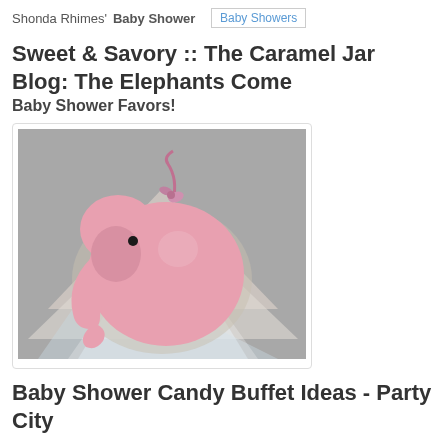Shonda Rhimes' Baby Shower  Baby Showers
Sweet & Savory :: The Caramel Jar Blog: The Elephants Come Baby Shower Favors!
[Figure (photo): Pink elephant-shaped baby shower favor tag/decoration placed on tissue paper wrapping]
Baby Shower Candy Buffet Ideas - Party City